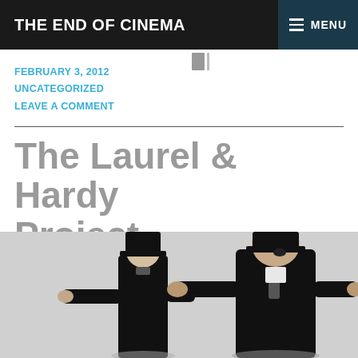THE END OF CINEMA
FEBRUARY 3, 2012
UNCATEGORIZED
LEAVE A COMMENT
The Laurel & Hardy Project
[Figure (photo): Black and white photo of Laurel and Hardy in suits and bowler hats, both with arms outstretched]